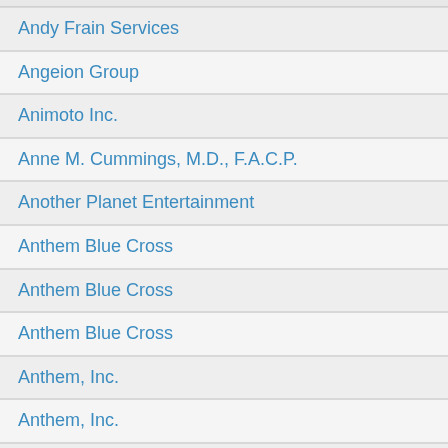Andy Frain Services
Angeion Group
Animoto Inc.
Anne M. Cummings, M.D., F.A.C.P.
Another Planet Entertainment
Anthem Blue Cross
Anthem Blue Cross
Anthem Blue Cross
Anthem, Inc.
Anthem, Inc.
Anthem, Inc.